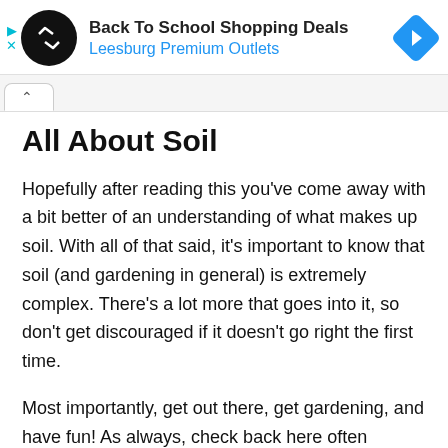[Figure (screenshot): Advertisement banner: black circular logo with double arrow icon, text 'Back To School Shopping Deals' and 'Leesburg Premium Outlets' in blue, blue diamond navigation icon on right. Small cyan play and X icons on far left.]
All About Soil
Hopefully after reading this you've come away with a bit better of an understanding of what makes up soil. With all of that said, it's important to know that soil (and gardening in general) is extremely complex. There's a lot more that goes into it, so don't get discouraged if it doesn't go right the first time.
Most importantly, get out there, get gardening, and have fun! As always, check back here often